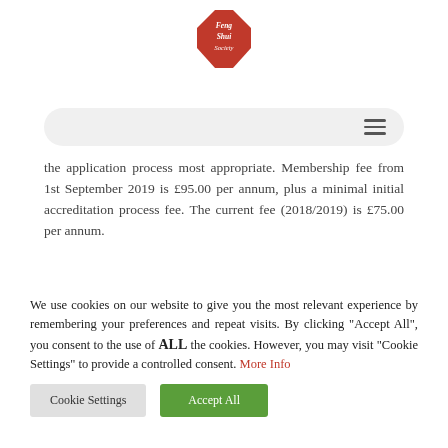[Figure (logo): Feng Shui Society octagon logo in red with white text]
[Figure (screenshot): Navigation bar with hamburger menu icon on gray rounded background]
the application process most appropriate. Membership fee from 1st September 2019 is £95.00 per annum, plus a minimal initial accreditation process fee. The current fee (2018/2019) is £75.00 per annum.
We use cookies on our website to give you the most relevant experience by remembering your preferences and repeat visits. By clicking "Accept All", you consent to the use of ALL the cookies. However, you may visit "Cookie Settings" to provide a controlled consent. More Info
Cookie Settings
Accept All